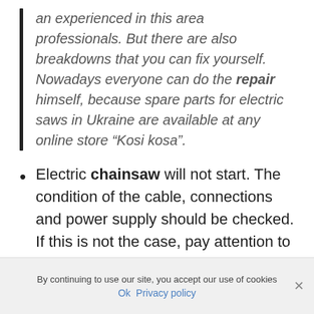an experienced in this area professionals. But there are also breakdowns that you can fix yourself. Nowadays everyone can do the repair himself, because spare parts for electric saws in Ukraine are available at any online store “Kosi kosa”.
Electric chainsaw will not start. The condition of the cable, connections and power supply should be checked. If this is not the case, pay attention to the chain brake, which might be stopping the electric saw. To correct this problem, the position of
By continuing to use our site, you accept our use of cookies
Ok  Privacy policy